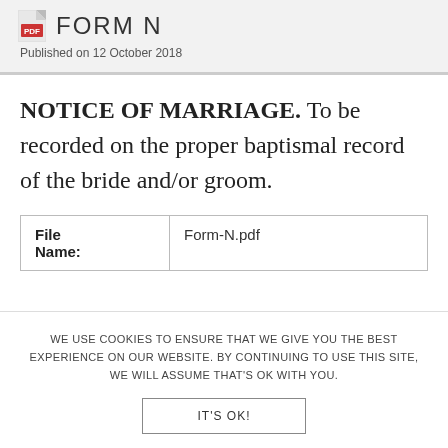FORM N
Published on 12 October 2018
NOTICE OF MARRIAGE. To be recorded on the proper baptismal record of the bride and/or groom.
| File Name: | Form-N.pdf |
| --- | --- |
WE USE COOKIES TO ENSURE THAT WE GIVE YOU THE BEST EXPERIENCE ON OUR WEBSITE. BY CONTINUING TO USE THIS SITE, WE WILL ASSUME THAT'S OK WITH YOU.
IT'S OK!